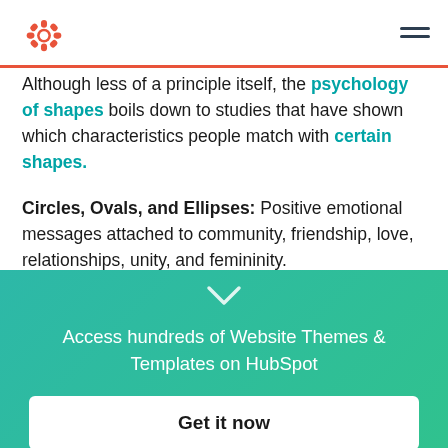HubSpot logo and navigation
Although less of a principle itself, the psychology of shapes boils down to studies that have shown which characteristics people match with certain shapes.
Circles, Ovals, and Ellipses: Positive emotional messages attached to community, friendship, love, relationships, unity, and femininity.
[Figure (other): Teal gradient banner section with chevron down arrow, promotional text and button]
Access hundreds of Website Themes & Templates on HubSpot
Get it now